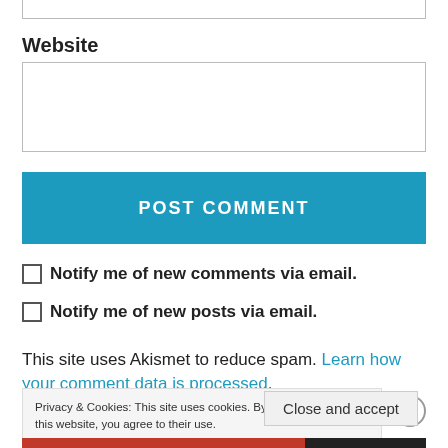Website
POST COMMENT
Notify me of new comments via email.
Notify me of new posts via email.
This site uses Akismet to reduce spam. Learn how your comment data is processed.
Privacy & Cookies: This site uses cookies. By continuing to use this website, you agree to their use. To find out more, including how to control cookies, see here: Cookie Policy
Close and accept